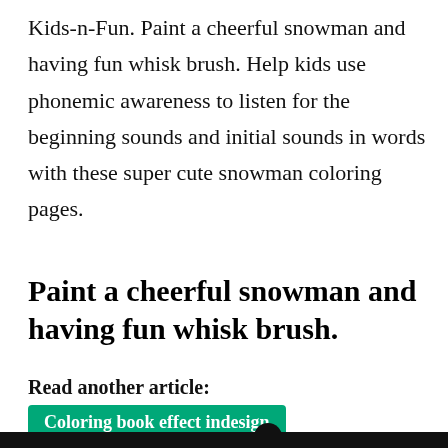Kids-n-Fun. Paint a cheerful snowman and having fun whisk brush. Help kids use phonemic awareness to listen for the beginning sounds and initial sounds in words with these super cute snowman coloring pages.
Paint a cheerful snowman and having fun whisk brush.
Read another article:
Coloring book effect indesign